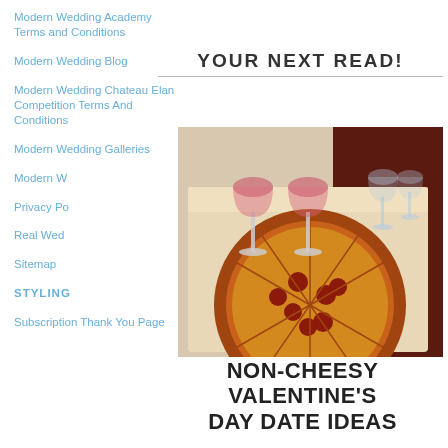Modern Wedding Academy Terms and Conditions
Modern Wedding Blog
Modern Wedding Chateau Elan Competition Terms And Conditions
Modern Wedding Galleries
Modern W[edding...]
Privacy Po[licy...]
Real Wed[dings...]
Sitemap
STYLING
Subscription Thank You Page
YOUR NEXT READ!
[Figure (photo): Photo of a pizza in an open box with two glasses of rosé wine on top, placed on a blanket with dark red fabric in the background.]
NON-CHEESY VALENTINE'S DAY DATE IDEAS